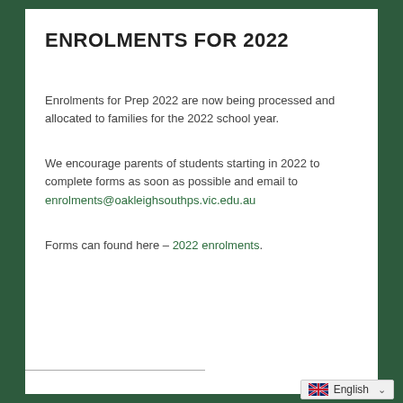ENROLMENTS FOR 2022
Enrolments for Prep 2022 are now being processed and allocated to families for the 2022 school year.
We encourage parents of students starting in 2022 to complete forms as soon as possible and email to enrolments@oakleighsouthps.vic.edu.au
Forms can found here – 2022 enrolments.